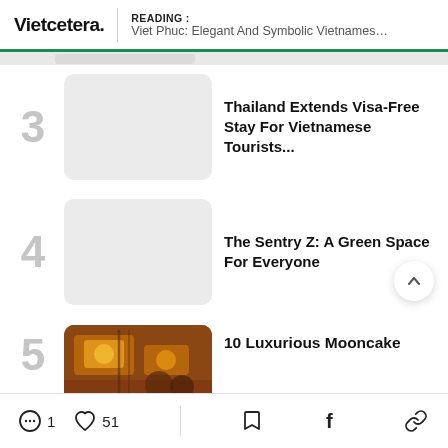Vietcetera. | READING : Viet Phuc: Elegant And Symbolic Vietnamese Costum...
3 — Thailand Extends Visa-Free Stay For Vietnamese Tourists...
4 — The Sentry Z: A Green Space For Everyone
5 — 10 Luxurious Mooncake
1 comment | 51 likes | bookmark | facebook | link